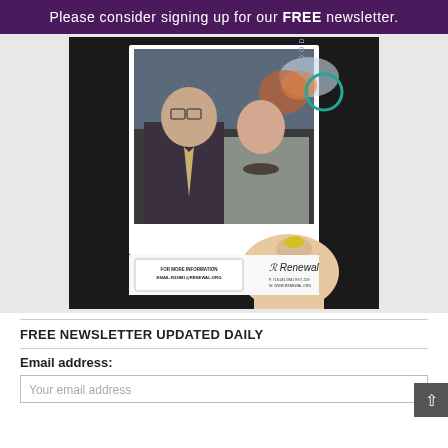Please consider signing up for our FREE newsletter.
[Figure (photo): A hand holding a photo of two people (a man in a suit and a woman) at an event. The card shows 'BLOOD TYPE O' text and a Renewal organization advertisement with text: FOR MORE INFORMATION EMAIL:R23881@RENEWAL.ORG, Renewal, P. 718.431.9831 EXT. 209, W. WWW.RENEWAL.ORG]
FREE NEWSLETTER UPDATED DAILY
Email address:
Your email address